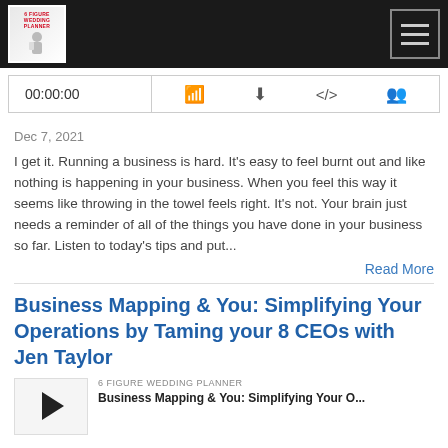6 Figure Wedding Planner Podcast
00:00:00
Dec 7, 2021
I get it. Running a business is hard. It's easy to feel burnt out and like nothing is happening in your business. When you feel this way it seems like throwing in the towel feels right. It's not. Your brain just needs a reminder of all of the things you have done in your business so far. Listen to today's tips and put...
Read More
Business Mapping & You: Simplifying Your Operations by Taming your 8 CEOs with Jen Taylor
6 FIGURE WEDDING PLANNER
Business Mapping & You: Simplifying Your O...